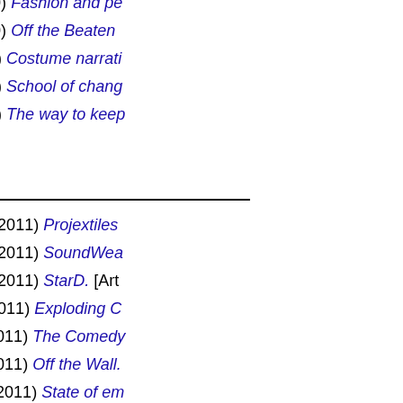Bugg, Jessica (2010) Fashion and pe…
Bugg, Jessica (2010) Off the Beaten…
Baxter, Hilary (2010) Costume narrati…
Baxter, Hilary (2010) School of chang…
Baxter, Hilary (2010) The way to keep…
2011
Thorogood, Simon (2011) Projextiles…
Thorogood, Simon (2011) SoundWea…
Thorogood, Simon (2011) StarD. [Art…
Spencer, Michael (2011) Exploding C…
Pavelka, Michael (2011) The Comedy…
Pavelka, Michael (2011) Off the Wall.…
Hammond, Abigail (2011) State of em…
Hammond, Abigail (2011) Transforma…
Gravestock, Hannah (2011) Drawing … of Surrey.